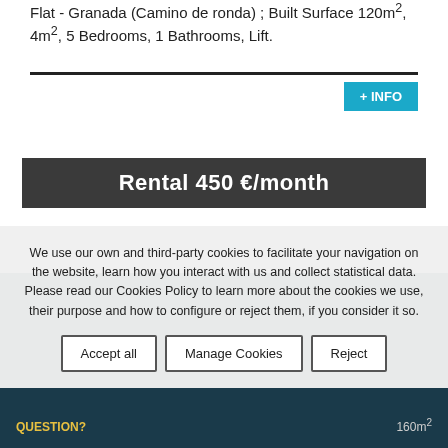Flat - Granada (Camino de ronda) ; Built Surface 120m², 4m², 5 Bedrooms, 1 Bathrooms, Lift.
+ INFO
Rental 450 €/month
We use our own and third-party cookies to facilitate your navigation on the website, learn how you interact with us and collect statistical data. Please read our Cookies Policy to learn more about the cookies we use, their purpose and how to configure or reject them, if you consider it so.
Accept all
Manage Cookies
Reject
QUESTION?
160m²